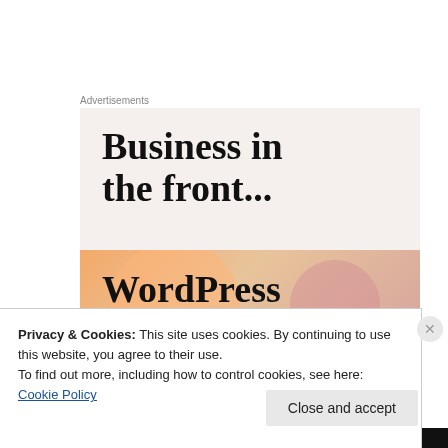Advertisements
[Figure (illustration): WordPress advertisement banner showing 'Business in the front...' text on light beige background with 'WordPress' text on orange/peach gradient background with circular shapes]
Privacy & Cookies: This site uses cookies. By continuing to use this website, you agree to their use.
To find out more, including how to control cookies, see here: Cookie Policy
Close and accept